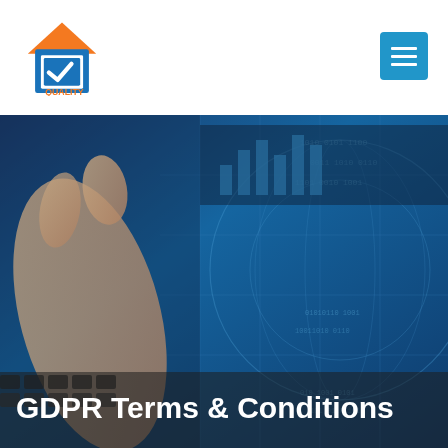[Figure (logo): Quality House logo with orange roof/house icon and blue checkbox with checkmark, text reads QUALITY HOUSE in orange]
[Figure (other): Blue hamburger/menu button (three horizontal lines) on blue background, top right corner]
[Figure (photo): Hero background image showing hands typing on keyboard overlaid with digital data/binary code globe in blue tones]
GDPR Terms & Conditions